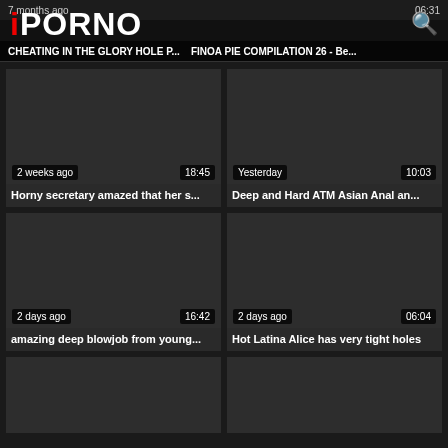iPORNO
7 months ago | CHEATING IN THE GLORY HOLE P... | FINOA PIE COMPILATION 26 - Be... | 06:31
[Figure (screenshot): Video thumbnail placeholder dark]
2 weeks ago | 18:45 | Horny secretary amazed that her s...
[Figure (screenshot): Video thumbnail placeholder dark]
Yesterday | 10:03 | Deep and Hard ATM Asian Anal an...
[Figure (screenshot): Video thumbnail placeholder dark]
2 days ago | 16:42 | amazing deep blowjob from young...
[Figure (screenshot): Video thumbnail placeholder dark]
2 days ago | 06:04 | Hot Latina Alice has very tight holes
[Figure (screenshot): Video thumbnail placeholder dark partial]
[Figure (screenshot): Video thumbnail placeholder dark partial]